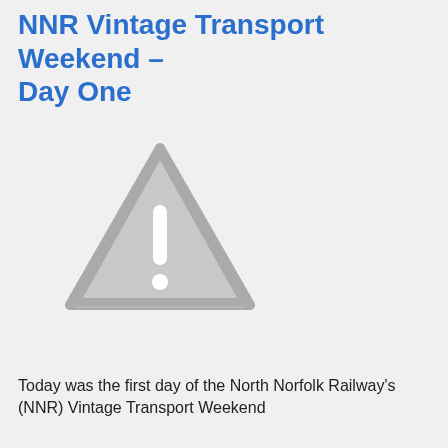NNR Vintage Transport Weekend – Day One
[Figure (illustration): A grey warning/caution triangle icon with an exclamation mark, indicating a missing or unavailable image placeholder.]
Today was the first day of the North Norfolk Railway's (NNR) Vintage Transport Weekend